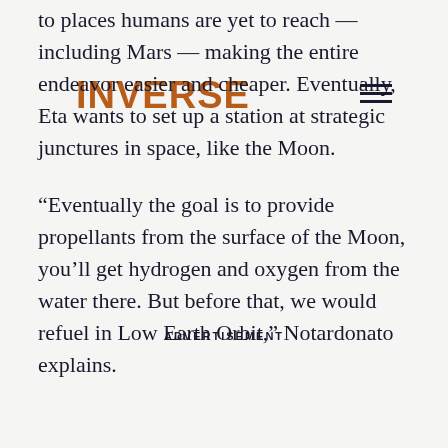INVERSE
to places humans are yet to reach — including Mars — making the entire endeavor easier and cheaper. Eventually, Eta wants to set up a station at strategic junctures in space, like the Moon.
“Eventually the goal is to provide propellants from the surface of the Moon, you’ll get hydrogen and oxygen from the water there. But before that, we would refuel in Low Earth Orbit,” Notardonato explains.
ADVERTISEMENT